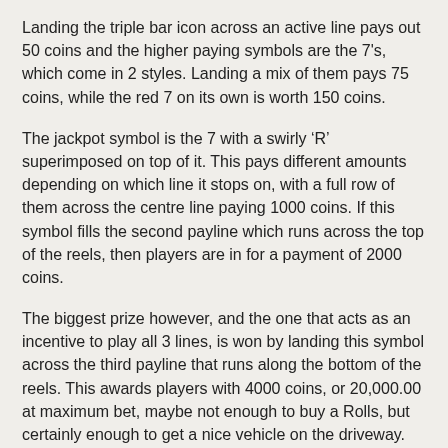Landing the triple bar icon across an active line pays out 50 coins and the higher paying symbols are the 7's, which come in 2 styles. Landing a mix of them pays 75 coins, while the red 7 on its own is worth 150 coins.
The jackpot symbol is the 7 with a swirly ‘R’ superimposed on top of it. This pays different amounts depending on which line it stops on, with a full row of them across the centre line paying 1000 coins. If this symbol fills the second payline which runs across the top of the reels, then players are in for a payment of 2000 coins.
The biggest prize however, and the one that acts as an incentive to play all 3 lines, is won by landing this symbol across the third payline that runs along the bottom of the reels. This awards players with 4000 coins, or 20,000.00 at maximum bet, maybe not enough to buy a Rolls, but certainly enough to get a nice vehicle on the driveway.
THE VERDICT
Anyone who likes to focus on simply spinning the reels and collecting any prizes when winning combinations land across them will probably want to give those of Reels Royce a spin or two. Its easy gameplay and reasonable returns have kept it going for a number of years, although anyone who likes to see a bit more